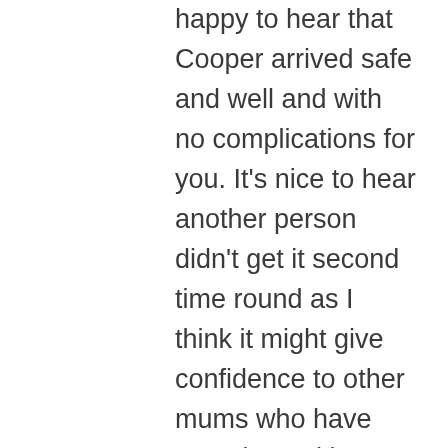happy to hear that Cooper arrived safe and well and with no complications for you. It's nice to hear another person didn't get it second time round as I think it might give confidence to other mums who have experienced it. You do think that any bit of itching is going to be it as you just kind of expect to get it again don't you? Molly also had problems with her lungs and ended up in neo natal but luckily only for 3 days and as you said it could have been a lot